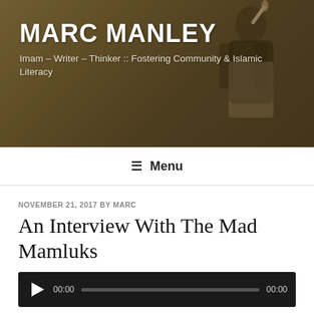[Figure (photo): Sepia-toned photograph of a man in a suit holding a microphone, used as the site header banner background]
MARC MANLEY
Imam – Writer – Thinker :: Fostering Community & Islamic Literacy
☰ Menu
NOVEMBER 21, 2017 BY MARC
An Interview With The Mad Mamluks
[Figure (other): Audio player with play button, 00:00 time display, progress bar, and 00:00 duration]
Podcast: Play in new window | Download
Last month I did an interview with the guys from the popular podcast, The Mad Mamluks. We dive into a several